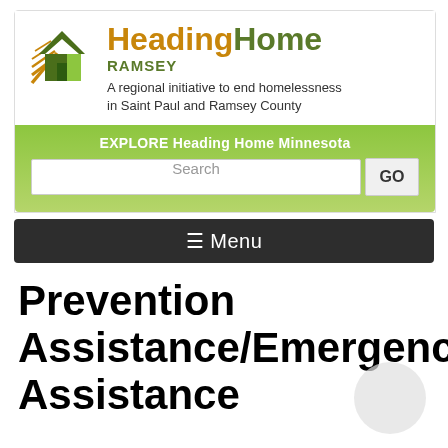[Figure (logo): Heading Home Ramsey logo with house icon and rays, tagline 'A regional initiative to end homelessness in Saint Paul and Ramsey County', search bar with GO button]
≡ Menu
Prevention Assistance/Emergency Assistance